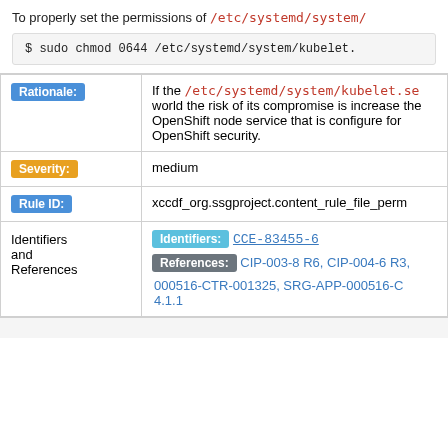To properly set the permissions of /etc/systemd/system/
$ sudo chmod 0644 /etc/systemd/system/kubelet.
| Label | Value |
| --- | --- |
| Rationale: | If the /etc/systemd/system/kubelet.se world the risk of its compromise is increase the OpenShift node service that is configure for OpenShift security. |
| Severity: | medium |
| Rule ID: | xccdf_org.ssgproject.content_rule_file_perm |
| Identifiers and References | Identifiers: CCE-83455-6 References: CIP-003-8 R6, CIP-004-6 R3, 000516-CTR-001325, SRG-APP-000516-C 4.1.1 |